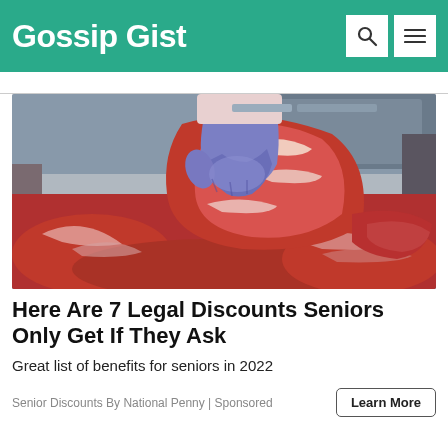Gossip Gist
[Figure (photo): A person wearing blue gloves holds up a large cut of raw red meat over a butcher display counter filled with various cuts of meat.]
Here Are 7 Legal Discounts Seniors Only Get If They Ask
Great list of benefits for seniors in 2022
Senior Discounts By National Penny | Sponsored
Learn More